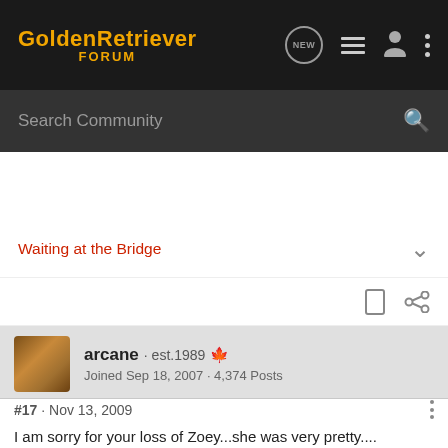GoldenRetriever FORUM
Search Community
Waiting at the Bridge
arcane · est.1989 🇨🇦
Joined Sep 18, 2007 · 4,374 Posts
#17 · Nov 13, 2009
I am sorry for your loss of Zoey...she was very pretty....